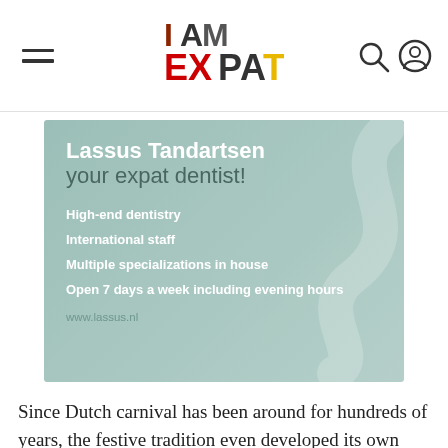I AM EXPAT
[Figure (advertisement): Lassus Tandartsen dental clinic advertisement with mint/teal background and white text. Headline: 'Lassus Tandartsen your expat dentist!' with bullet points: High-end dentistry, International staff, Multiple specializations in house, Open 7 days a week including evening hours. URL: www.lassus.nl]
Since Dutch carnival has been around for hundreds of years, the festive tradition even developed its own vocabulary. The words evolved from the local dialects in the southern part of the Netherlands.